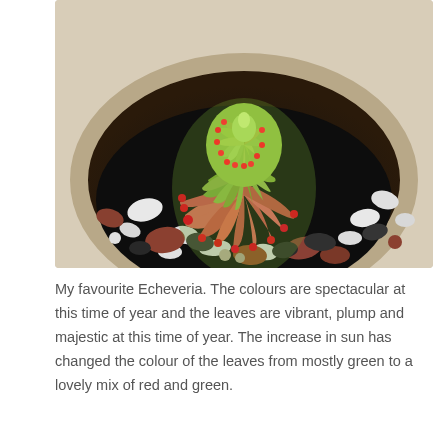[Figure (photo): Close-up overhead photograph of an Echeveria succulent plant in a round pale pot. The rosette-shaped plant has plump leaves with green centers and red-pink tips. The pot is filled with decorative mixed gravel including white, dark grey, and reddish-brown stones against dark soil.]
My favourite Echeveria. The colours are spectacular at this time of year and the leaves are vibrant, plump and majestic at this time of year. The increase in sun has changed the colour of the leaves from mostly green to a lovely mix of red and green.